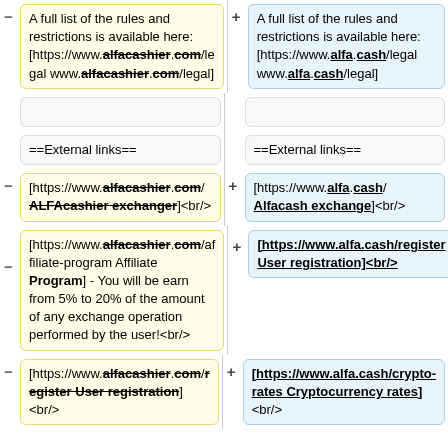A full list of the rules and restrictions is available here: [https://www.alfacashier.com/legal www.alfacashier.com/legal]
A full list of the rules and restrictions is available here: [https://www.alfa.cash/legal www.alfa.cash/legal]
(empty cell)
(empty cell)
==External links==
==External links==
[https://www.alfacashier.com/ ALFAcashier exchanger]<br/>
[https://www.alfa.cash/ Alfacash exchange]<br/>
[https://www.alfacashier.com/affiliate-program Affiliate Program] - You will be earn from 5% to 20% of the amount of any exchange operation performed by the user!<br/>
[https://www.alfa.cash/register User registration]<br/>
[https://www.alfacashier.com/register User registration]<br/>
[https://www.alfa.cash/crypto-rates Cryptocurrency rates] <br/>